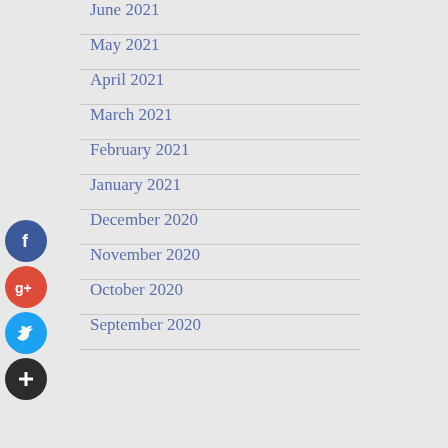June 2021
May 2021
April 2021
March 2021
February 2021
January 2021
December 2020
November 2020
October 2020
September 2020
[Figure (infographic): Social media sharing icons: Facebook (blue), Google+ (red), Twitter (cyan), Plus/More (dark)]